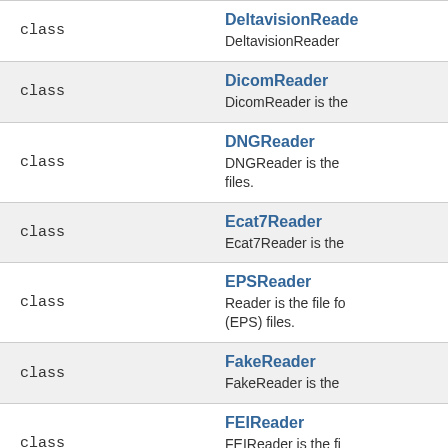| type | name / description |
| --- | --- |
| class | DeltavisionReader
DeltavisionReader |
| class | DicomReader
DicomReader is the |
| class | DNGReader
DNGReader is the
files. |
| class | Ecat7Reader
Ecat7Reader is the |
| class | EPSReader
Reader is the file fo
(EPS) files. |
| class | FakeReader
FakeReader is the |
| class | FEIReader
FEIReader is the fi
files. |